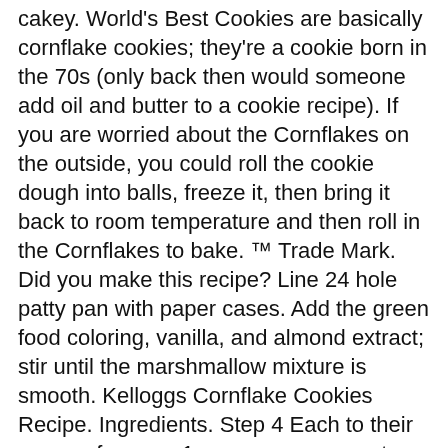cakey. World's Best Cookies are basically cornflake cookies; they're a cookie born in the 70s (only back then would someone add oil and butter to a cookie recipe). If you are worried about the Cornflakes on the outside, you could roll the cookie dough into balls, freeze it, then bring it back to room temperature and then roll in the Cornflakes to bake. ™ Trade Mark. Did you make this recipe? Line 24 hole patty pan with paper cases. Add the green food coloring, vanilla, and almond extract; stir until the marshmallow mixture is smooth. Kelloggs Cornflake Cookies Recipe. Ingredients. Step 4 Each to their own preference. 1 cup creamy peanut butter. Bake for 10- 12 minutes. In a large mixing bowl, beat butter and sugars using an electric beater for 1-2 minutes or until pale and creamy. But this is not the first time I've shared a Cornflake Cookie with you. @sweetestmenu In large mixing bowl, beat margarine and sugar until light and fluffy. 1 comments; 6 bookmarks; by . I grew up with Grandma making these special biscuits. 4 dozen 48 cookies. Cornflake Wreaths Christmas Cookies Recipe | Southern Living Hi I made with gluten free flour and added